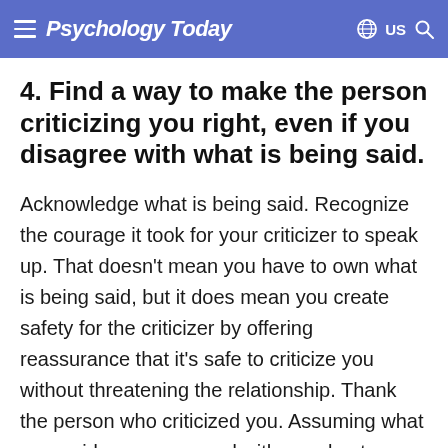Psychology Today  US
4. Find a way to make the person criticizing you right, even if you disagree with what is being said.
Acknowledge what is being said. Recognize the courage it took for your criticizer to speak up. That doesn't mean you have to own what is being said, but it does mean you create safety for the criticizer by offering reassurance that it's safe to criticize you without threatening the relationship. Thank the person who criticized you. Assuming what was said was expressed with your best interests in mind, be grateful that you're in a relationship with someone who wants to help you live a happier,